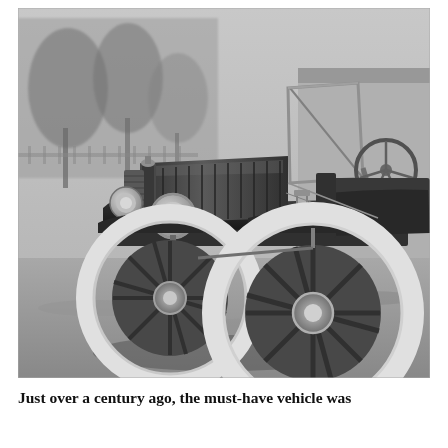[Figure (photo): Black and white photograph of a vintage early 20th century automobile (resembling a Ford Model T), showing the front and side view with large white-wall spoke wheels, headlamps, radiator, windshield frame, steering wheel, and leather seating. The car is parked on a gravel or dirt surface with trees and a building visible in the background.]
Just over a century ago, the must-have vehicle was